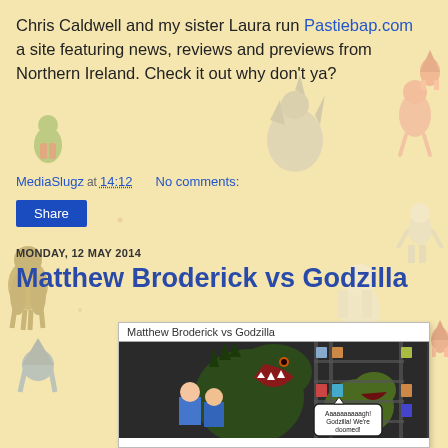Chris Caldwell and my sister Laura run Pastiebap.com a site featuring news, reviews and previews from Northern Ireland. Check it out why don't ya?
MediaSlugz at 14:12   No comments:
Share
MONDAY, 12 MAY 2014
Matthew Broderick vs Godzilla
[Figure (illustration): Comic panel showing Godzilla roaring at characters, with speech bubble saying 'Aaaaaaaaaagh! Godzilla! We're doomed!' Title bar reads 'Matthew Broderick vs Godzilla']